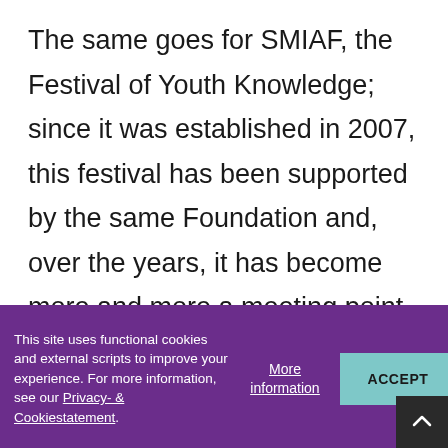The same goes for SMIAF, the Festival of Youth Knowledge; since it was established in 2007, this festival has been supported by the same Foundation and, over the years, it has become more and more a meeting point for the creation of new knowledge, by giving birth not only to mere performances, but to a real interactive and intercultural
This site uses functional cookies and external scripts to improve your experience. For more information, see our Privacy- & Cookiestatement.
More information
ACCEPT